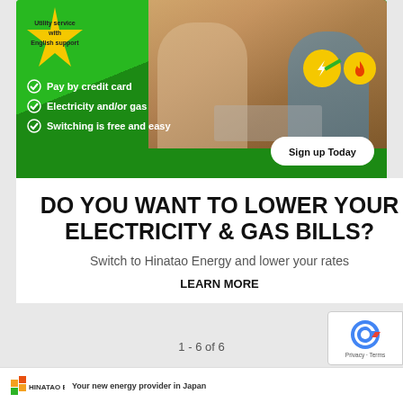[Figure (infographic): Hinatao Energy advertisement banner showing a couple looking at a laptop, with green background, a yellow star badge reading 'Utility service with English support', checklist items (Pay by credit card, Electricity and/or gas, Switching is free and easy), energy icons (lightning bolt and flame), and a 'Sign up Today' button.]
DO YOU WANT TO LOWER YOUR ELECTRICITY & GAS BILLS?
Switch to Hinatao Energy and lower your rates
LEARN MORE
1 - 6 of 6
[Figure (logo): Hinatao Energy logo with orange and green squares]
Your new energy provider in Japan